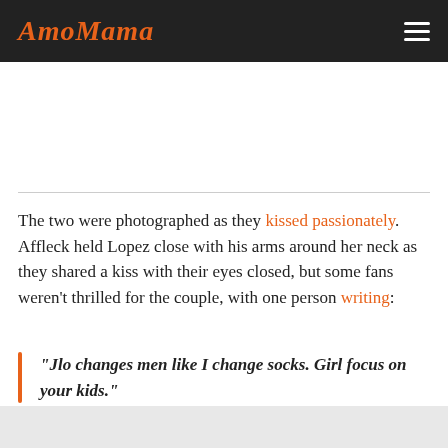AmoMama
The two were photographed as they kissed passionately. Affleck held Lopez close with his arms around her neck as they shared a kiss with their eyes closed, but some fans weren't thrilled for the couple, with one person writing:
“Jlo changes men like I change socks. Girl focus on your kids.”